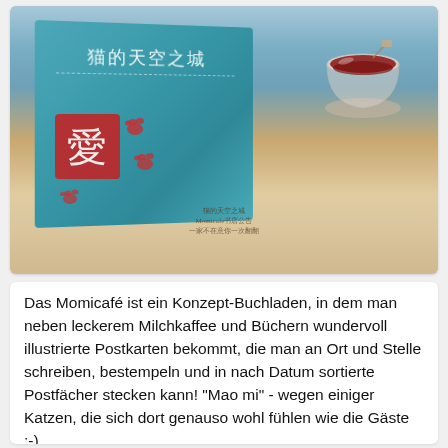[Figure (photo): Photo of a teal Chinese book with text '猫的天空之城', a glass cup of red tea, a red stamp/seal decoration with cat paw prints, all arranged on a lace doily surface. Watermark text in Chinese in the middle-bottom area of the photo.]
Das Momicafé ist ein Konzept-Buchladen, in dem man neben leckerem Milchkaffee und Büchern wundervoll illustrierte Postkarten bekommt, die man an Ort und Stelle schreiben, bestempeln und in nach Datum sortierte Postfächer stecken kann! "Mao mi" - wegen einiger Katzen, die sich dort genauso wohl fühlen wie die Gäste :-)
[Momicafé is a concept bookstore, in which you can buy gorgeous illustrated postcards beside drinking latte and buying books. You can write those right there, stamp on it